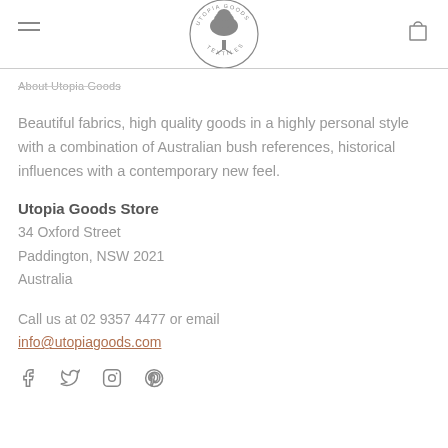[Figure (logo): Utopia Goods Textiles circular logo with tree illustration]
About Utopia Goods
Beautiful fabrics, high quality goods in a highly personal style with a combination of Australian bush references, historical influences with a contemporary new feel.
Utopia Goods Store
34 Oxford Street
Paddington, NSW 2021
Australia
Call us at 02 9357 4477 or email info@utopiagoods.com
[Figure (infographic): Social media icons: Facebook, Twitter, Instagram, Pinterest]